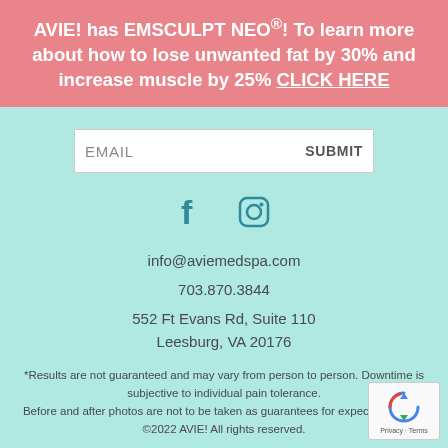AVIE! has EMSCULPT NEO®! To learn more about how to lose unwanted fat by 30% and increase muscle by 25% CLICK HERE
[Figure (other): Email input field with SUBMIT button]
[Figure (other): Social media icons: Facebook and Instagram]
info@aviemedspa.com
703.870.3844
552 Ft Evans Rd, Suite 110
Leesburg, VA 20176
*Results are not guaranteed and may vary from person to person. Downtime is subjective to individual pain tolerance.
Before and after photos are not to be taken as guarantees for expected results.
©2022 AVIE! All rights reserved.
Financing Available